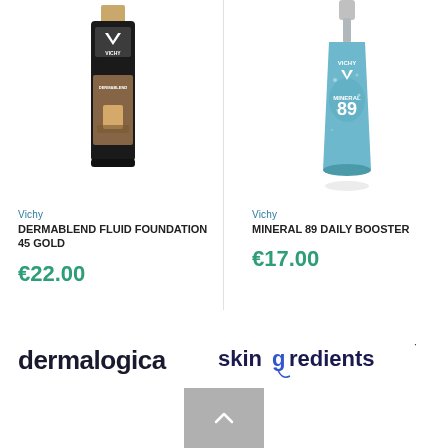[Figure (photo): Vichy Dermablend Fluid Foundation 45 Gold product bottle, black tube with gold cap]
Vichy
DERMABLEND FLUID FOUNDATION 45 GOLD
€22.00
[Figure (photo): Vichy Mineral 89 Daily Booster product, blue glass bottle with dropper]
Vichy
MINERAL 89 DAILY BOOSTER
€17.00
[Figure (logo): dermalogica logo in dark navy bold lowercase text]
[Figure (logo): skingredients logo with blue g, mixed dark and blue text with registered mark]